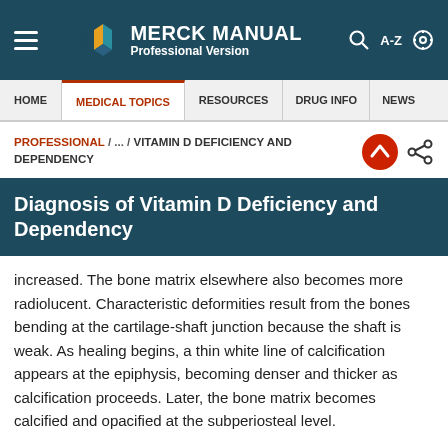MERCK MANUAL Professional Version
HOME / MEDICAL TOPICS / RESOURCES / DRUG INFO / NEWS
PROFESSIONAL / ... / VITAMIN D DEFICIENCY AND DEPENDENCY
Diagnosis of Vitamin D Deficiency and Dependency
increased. The bone matrix elsewhere also becomes more radiolucent. Characteristic deformities result from the bones bending at the cartilage-shaft junction because the shaft is weak. As healing begins, a thin white line of calcification appears at the epiphysis, becoming denser and thicker as calcification proceeds. Later, the bone matrix becomes calcified and opacified at the subperiosteal level.
In adults, bone demineralization, particularly in the spine